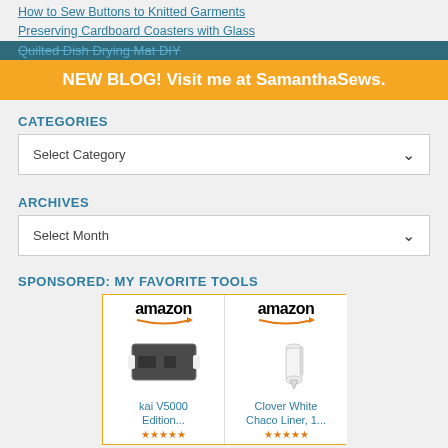How to Sew Buttons to Knitted Garments
Preserving Cardboard Coasters with Glass
Quilted Dish Drying Mat DIY
NEW BLOG! Visit me at SamanthaSews.
CATEGORIES
Select Category
ARCHIVES
Select Month
SPONSORED: MY FAVORITE TOOLS
[Figure (other): Two Amazon product cards side by side with orange border. Left card: amazon logo, razor blade image, 'kai V5000 Edition...' title. Right card: amazon logo, Clover White Chaco Liner image, 'Clover White Chaco Liner, 1...' title.]